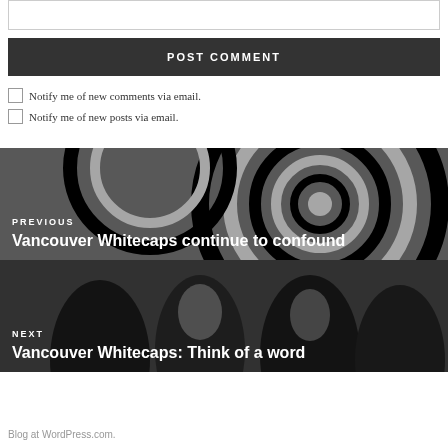[Figure (screenshot): Text input box (comment field) at top of page]
POST COMMENT
Notify me of new comments via email.
Notify me of new posts via email.
[Figure (photo): Previous post navigation block with spiral/geometric black-and-white background image]
PREVIOUS
Vancouver Whitecaps continue to confound
[Figure (photo): Next post navigation block with dark photo of musicians/band members]
NEXT
Vancouver Whitecaps: Think of a word
Blog at WordPress.com.